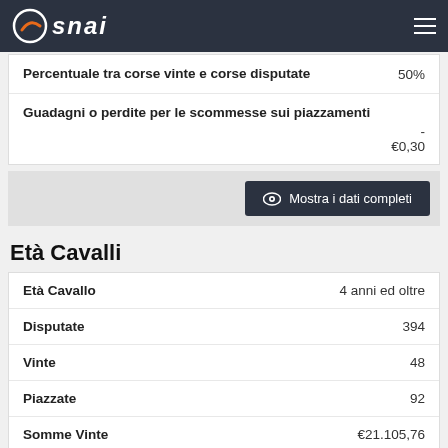SNAI
| Percentuale tra corse vinte e corse disputate | 50% |
| Guadagni o perdite per le scommesse sui piazzamenti | -
€0,30 |
Mostra i dati completi
Età Cavalli
| Età Cavallo | 4 anni ed oltre |
| Disputate | 394 |
| Vinte | 48 |
| Piazzate | 92 |
| Somme Vinte | €21.105,76 |
| Percentuale tra corse vinte e corse | 12,18% |